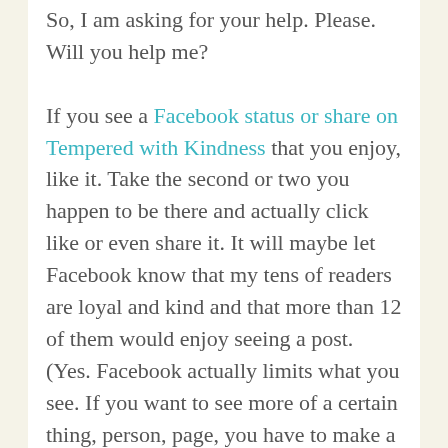So, I am asking for your help. Please. Will you help me?

If you see a Facebook status or share on Tempered with Kindness that you enjoy, like it. Take the second or two you happen to be there and actually click like or even share it. It will maybe let Facebook know that my tens of readers are loyal and kind and that more than 12 of them would enjoy seeing a post. (Yes. Facebook actually limits what you see. If you want to see more of a certain thing, person, page, you have to make a point of liking those things. Some people also suggest going to your notifications and choosing “see this first” so you will see an actual person,